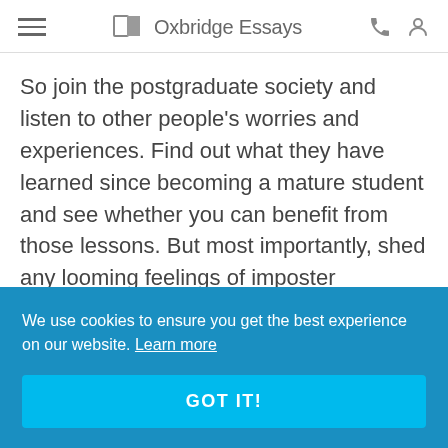Oxbridge Essays
So join the postgraduate society and listen to other people's worries and experiences. Find out what they have learned since becoming a mature student and see whether you can benefit from those lessons. But most importantly, shed any looming feelings of imposter syndrome. You have earned your right to be there! The people who made the
We use cookies to ensure you get the best experience on our website. Learn more
GOT IT!